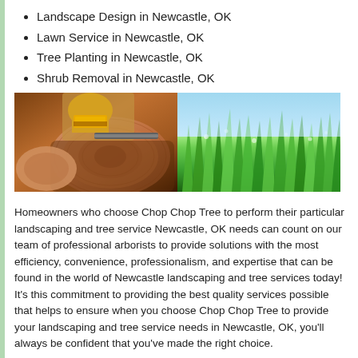Landscape Design in Newcastle, OK
Lawn Service in Newcastle, OK
Tree Planting in Newcastle, OK
Shrub Removal in Newcastle, OK
[Figure (photo): Two side-by-side photos: left shows cut logs and a chainsaw operator in yellow helmet, right shows close-up of green grass blades with dew drops]
Homeowners who choose Chop Chop Tree to perform their particular landscaping and tree service Newcastle, OK needs can count on our team of professional arborists to provide solutions with the most efficiency, convenience, professionalism, and expertise that can be found in the world of Newcastle landscaping and tree services today! It's this commitment to providing the best quality services possible that helps to ensure when you choose Chop Chop Tree to provide your landscaping and tree service needs in Newcastle, OK, you'll always be confident that you've made the right choice.
If you're interested in learning more about anything from tree planting in Newcastle, OK to tree removal in Newcastle, OK